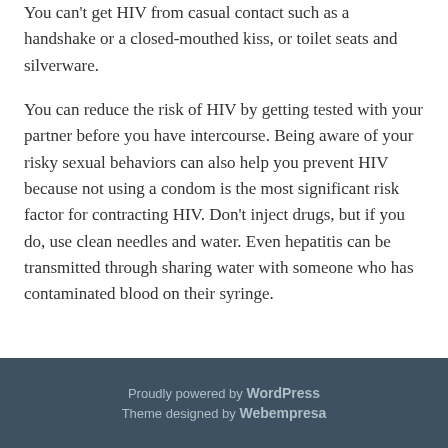You can't get HIV from casual contact such as a handshake or a closed-mouthed kiss, or toilet seats and silverware.
You can reduce the risk of HIV by getting tested with your partner before you have intercourse. Being aware of your risky sexual behaviors can also help you prevent HIV because not using a condom is the most significant risk factor for contracting HIV. Don't inject drugs, but if you do, use clean needles and water. Even hepatitis can be transmitted through sharing water with someone who has contaminated blood on their syringe.
Proudly powered by WordPress
Theme designed by Webempresa